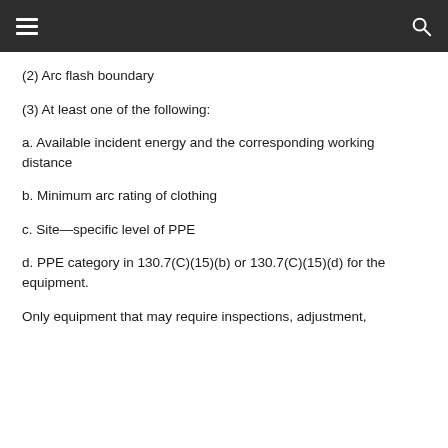(2) Arc flash boundary
(3) At least one of the following:
a. Available incident energy and the corresponding working distance
b. Minimum arc rating of clothing
c. Site—specific level of PPE
d. PPE category in 130.7(C)(15)(b) or 130.7(C)(15)(d) for the equipment.
Only equipment that may require inspections, adjustment,